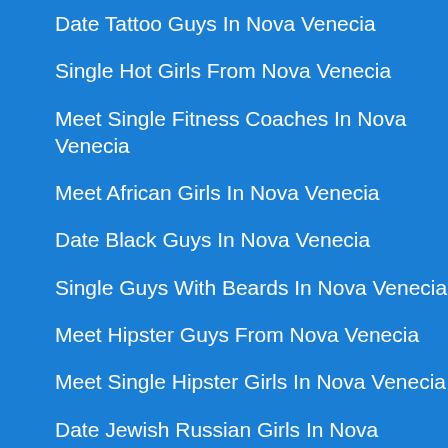Date Tattoo Guys In Nova Venecia
Single Hot Girls From Nova Venecia
Meet Single Fitness Coaches In Nova Venecia
Meet African Girls In Nova Venecia
Date Black Guys In Nova Venecia
Single Guys With Beards In Nova Venecia
Meet Hipster Guys From Nova Venecia
Meet Single Hipster Girls In Nova Venecia
Date Jewish Russian Girls In Nova Venecia
Date Cops In Nova Venecia